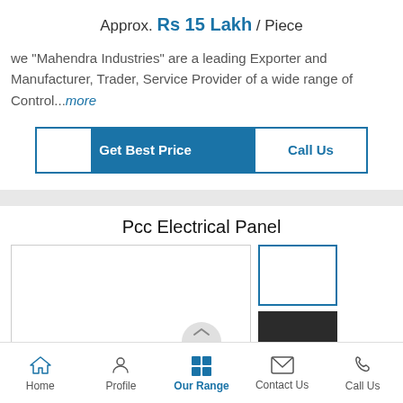Approx. Rs 15 Lakh / Piece
we "Mahendra Industries" are a leading Exporter and Manufacturer, Trader, Service Provider of a wide range of Control...more
Get Best Price
Call Us
Pcc Electrical Panel
[Figure (photo): Product image area showing Pcc Electrical Panel with main large image box and two thumbnail images on the right (one white-bordered, one dark/black)]
Home | Profile | Our Range | Contact Us | Call Us